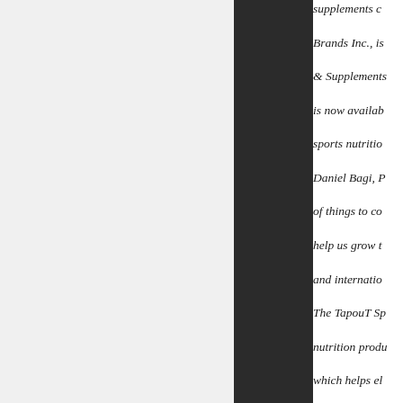supplements c... Brands Inc., is... & Supplements... is now availab... sports nutritio...
Daniel Bagi, P... of things to co... help us grow t... and internatio...
The TapouT Sp... nutrition produ... which helps el... available in bo... you to train ha... painkillers. In... reusable hot a...